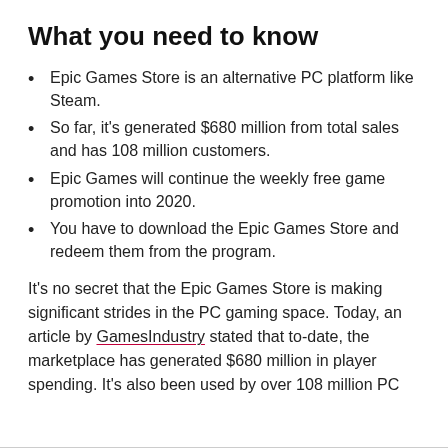What you need to know
Epic Games Store is an alternative PC platform like Steam.
So far, it's generated $680 million from total sales and has 108 million customers.
Epic Games will continue the weekly free game promotion into 2020.
You have to download the Epic Games Store and redeem them from the program.
It's no secret that the Epic Games Store is making significant strides in the PC gaming space. Today, an article by GamesIndustry stated that to-date, the marketplace has generated $680 million in player spending. It's also been used by over 108 million PC